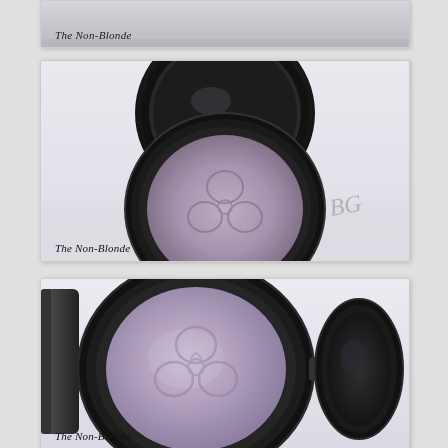[Figure (photo): Partial cropped photo of a makeup eyeshadow compact, white/light grey background, with cursive watermark 'The Non-Blonde' at bottom left]
[Figure (photo): Photo of an open black MAC-style eyeshadow compact with a shimmery mauve/purple eyeshadow pan featuring an embossed floral/butterfly logo, on a white surface with a faint script logo visible. Watermark 'The Non-Blonde' at bottom left.]
[Figure (photo): Close-up photo of a black eyeshadow compact open, showing a large round lilac/lavender shimmery eyeshadow pan with embossed floral logo, and the open mirror lid visible to the right. Watermark 'The Non-Blonde' at bottom left.]